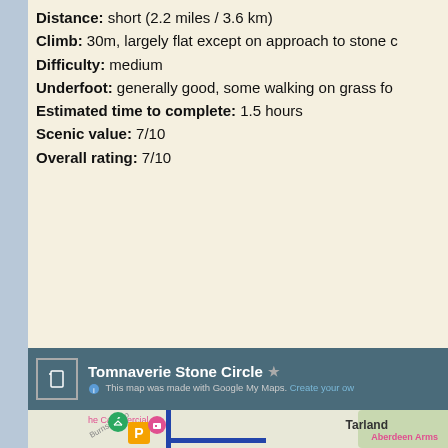Distance: short (2.2 miles / 3.6 km)
Climb: 30m, largely flat except on approach to stone c...
Difficulty: medium
Underfoot: generally good, some walking on grass fo...
Estimated time to complete: 1.5 hours
Scenic value: 7/10
Overall rating: 7/10
[Figure (map): Google My Maps screenshot showing Tomnaverie Stone Circle walk route through Tarland, with blue route line, parking marker (P), Aberdeen Arms hotel marker, and other map icons including The Commercial. Map shows Burnside Road and surrounding area.]